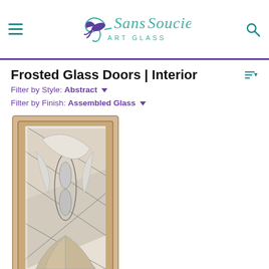Sans Soucie Art Glass
Frosted Glass Doors | Interior
Filter by Style: Abstract
Filter by Finish: Assembled Glass
[Figure (photo): A tall interior door with frosted and decorative assembled glass insert featuring an abstract Dreamscape design with curved shapes and beveled glass accents, set in a maple door frame.]
Dreamscape
From $3,242.12